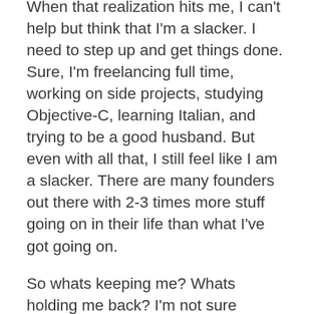When that realization hits me, I can't help but think that I'm a slacker. I need to step up and get things done. Sure, I'm freelancing full time, working on side projects, studying Objective-C, learning Italian, and trying to be a good husband. But even with all that, I still feel like I am a slacker. There are many founders out there with 2-3 times more stuff going on in their life than what I've got going on.
So whats keeping me? Whats holding me back? I'm not sure exactly. I think part of it is that I don't have the skills to build the things I want to build...well, I could work hard at what I do and earn enough money to pay someone else to do it.